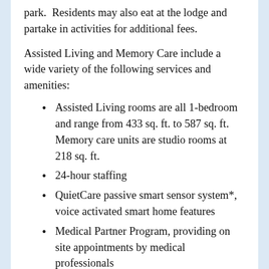park.  Residents may also eat at the lodge and partake in activities for additional fees.
Assisted Living and Memory Care include a wide variety of the following services and amenities:
Assisted Living rooms are all 1-bedroom and range from 433 sq. ft. to 587 sq. ft.  Memory care units are studio rooms at 218 sq. ft.
24-hour staffing
QuietCare passive smart sensor system*, voice activated smart home features
Medical Partner Program, providing on site appointments by medical professionals
Restaurant style dining